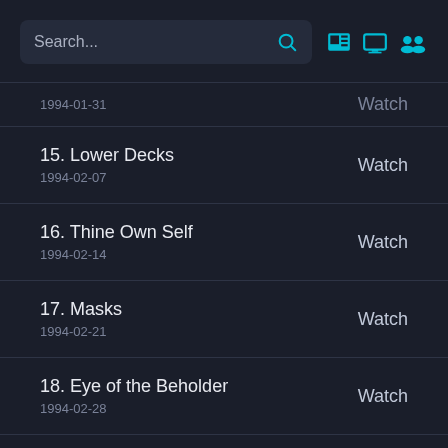Search...
1994-01-31 | Watch
15. Lower Decks | 1994-02-07 | Watch
16. Thine Own Self | 1994-02-14 | Watch
17. Masks | 1994-02-21 | Watch
18. Eye of the Beholder | 1994-02-28 | Watch
19. Genesis | 1994-03-21 | Watch